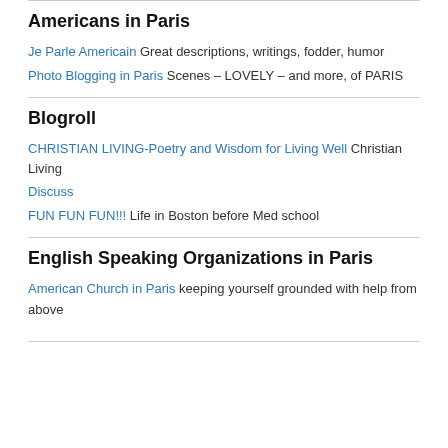Americans in Paris
Je Parle Americain Great descriptions, writings, fodder, humor
Photo Blogging in Paris Scenes – LOVELY – and more, of PARIS
Blogroll
CHRISTIAN LIVING-Poetry and Wisdom for Living Well Christian Living
Discuss
FUN FUN FUN!!! Life in Boston before Med school
English Speaking Organizations in Paris
American Church in Paris keeping yourself grounded with help from above